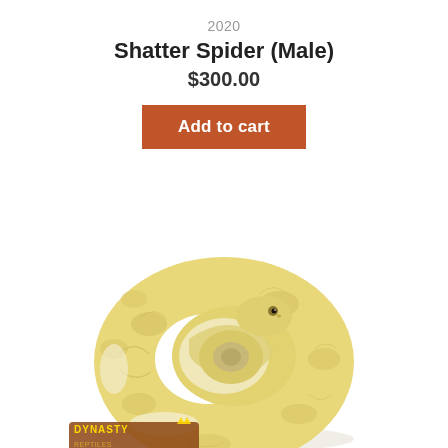2020
Shatter Spider (Male)
$300.00
Add to cart
[Figure (photo): A yellow/cream ball python coiled in a circular shape resembling a donut, on a white background. A Dynasty Reptiles logo is visible in the bottom left corner.]